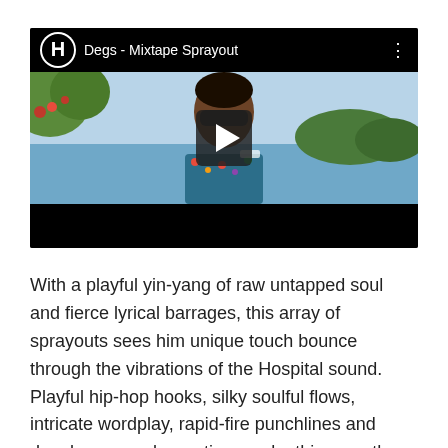[Figure (screenshot): Embedded YouTube-style video thumbnail showing a young man wearing sunglasses and a floral shirt outdoors near water, with a play button overlay. Top bar shows a Hospital Records logo and title 'Degs - Mixtape Sprayout'.]
With a playful yin-yang of raw untapped soul and fierce lyrical barrages, this array of sprayouts sees him unique touch bounce through the vibrations of the Hospital sound. Playful hip-hop hooks, silky soulful flows, intricate wordplay, rapid-fire punchlines and deeply personal narratives make this a worthy sequel to his debut single.